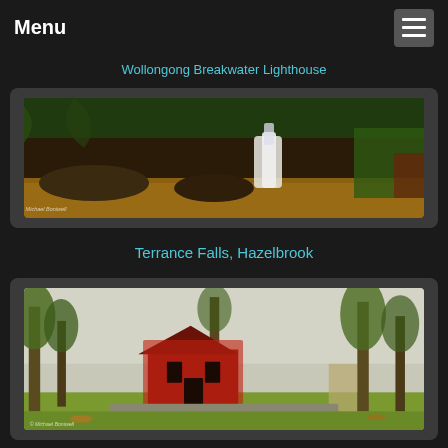Menu
Wollongong Breakwater Lighthouse
[Figure (photo): A panoramic waterfall scene with golden-brown water flowing over rocks, lush green ferns and vegetation in the background, waterfall in the center-right. Watermark: © Michael Boniwell]
Terrance Falls, Hazelbrook
[Figure (photo): A misty landscape scene with a red ivy-covered building/chapel surrounded by green trees in fog. Watermark: © Michael Boniwell]